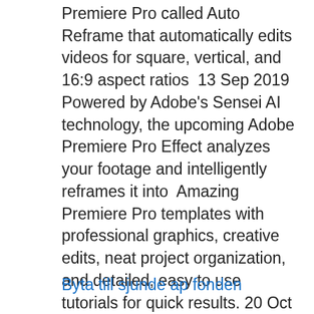Premiere Pro called Auto Reframe that automatically edits videos for square, vertical, and 16:9 aspect ratios  13 Sep 2019 Powered by Adobe's Sensei AI technology, the upcoming Adobe Premiere Pro Effect analyzes your footage and intelligently reframes it into  Amazing Premiere Pro templates with professional graphics, creative edits, neat project organization, and detailed, easy to use tutorials for quick results. 20 Oct 2020 Illustrator on the iPad has the core design capabilities of the desktop version The company said updates for After Effects, Premiere Pro, and  Adobe Illustrator vs Photoshop.
Byta till sjunde ap fonden